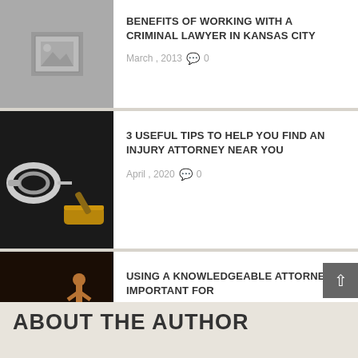[Figure (photo): Grey placeholder image with mountain/image icon]
BENEFITS OF WORKING WITH A CRIMINAL LAWYER IN KANSAS CITY
March , 2013  0
[Figure (photo): Photo of handcuffs and a gavel on dark background]
3 USEFUL TIPS TO HELP YOU FIND AN INJURY ATTORNEY NEAR YOU
April , 2020  0
[Figure (photo): Photo of a gavel and bronze justice figurine on dark background]
USING A KNOWLEDGEABLE ATTORNEY IS IMPORTANT FOR
December , 2020  0
ABOUT THE AUTHOR